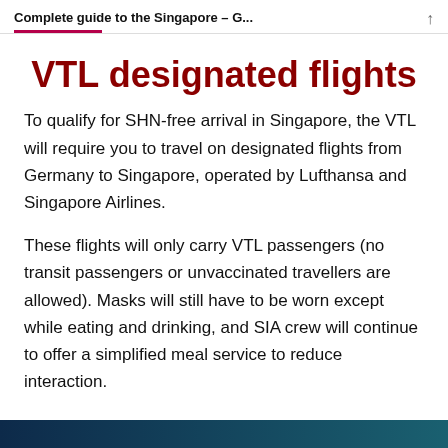Complete guide to the Singapore – G...
VTL designated flights
To qualify for SHN-free arrival in Singapore, the VTL will require you to travel on designated flights from Germany to Singapore, operated by Lufthansa and Singapore Airlines.
These flights will only carry VTL passengers (no transit passengers or unvaccinated travellers are allowed). Masks will still have to be worn except while eating and drinking, and SIA crew will continue to offer a simplified meal service to reduce interaction.
[Figure (other): Dark blue/teal gradient bar at the bottom of the page]